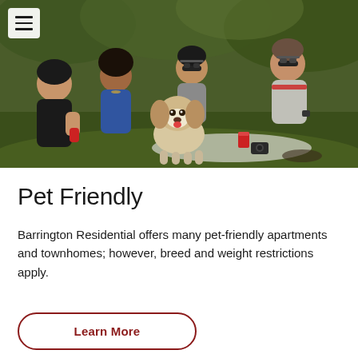[Figure (photo): Group of young adults sitting on grass at a park picnic, smiling and socializing with red cups, and a small fluffy Shih Tzu dog standing in front of them. There is a hamburger menu icon overlay in the top-left corner.]
Pet Friendly
Barrington Residential offers many pet-friendly apartments and townhomes; however, breed and weight restrictions apply.
Learn More (button)